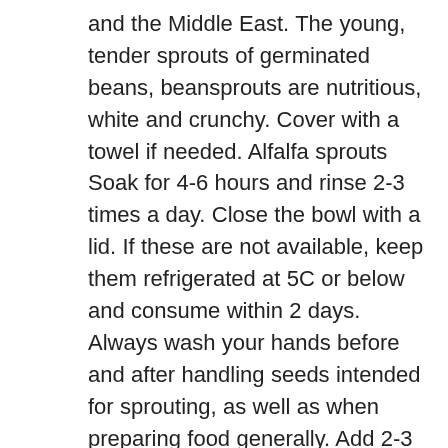and the Middle East. The young, tender sprouts of germinated beans, beansprouts are nutritious, white and crunchy. Cover with a towel if needed. Alfalfa sprouts Soak for 4-6 hours and rinse 2-3 times a day. Close the bowl with a lid. If these are not available, keep them refrigerated at 5C or below and consume within 2 days. Always wash your hands before and after handling seeds intended for sprouting, as well as when preparing food generally. Add 2-3 cups water, filling the jar three-quarters full, cover with a sprouting screen or mesh sprouting lid . We call this class Sprouting 101 If you pay attention you will learn the most basic truths of sprouting - according to us Sproutpeople. Cover the beans in water and then with a dishtowel. #4 — Use Sprouted Beans In Soups & Stews (Cooked) Sprouted beans — just a few ... These sprouted navy beans (a.k.a. Soak 1-1/3 cups of beans overnight in pure water. Rinse ¼-¾ cup black...